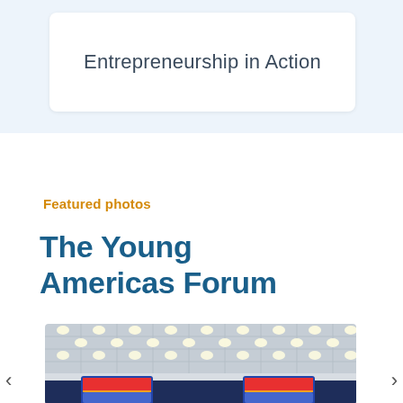Entrepreneurship in Action
Featured photos
The Young Americas Forum
[Figure (photo): Conference hall with ceiling lights and a banner/backdrop with colorful logos at the front of the room, partially visible at the bottom of the page]